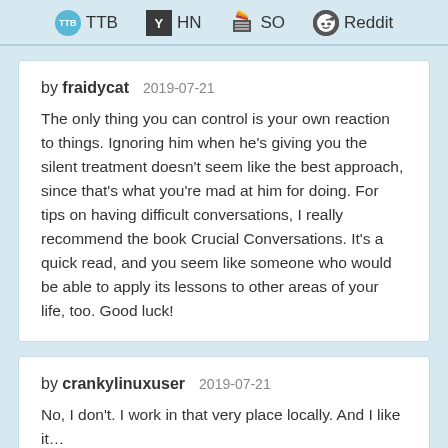TTB  HN  SO  Reddit
by fraidycat   2019-07-21
The only thing you can control is your own reaction to things. Ignoring him when he's giving you the silent treatment doesn't seem like the best approach, since that's what you're mad at him for doing. For tips on having difficult conversations, I really recommend the book Crucial Conversations. It's a quick read, and you seem like someone who would be able to apply its lessons to other areas of your life, too. Good luck!
by crankylinuxuser   2019-07-21
No, I don't. I work in that very place locally. And I like it…